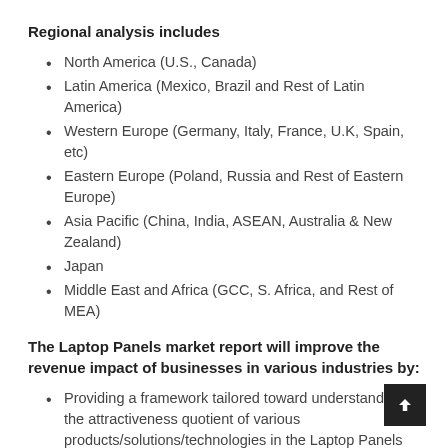Regional analysis includes
North America (U.S., Canada)
Latin America (Mexico, Brazil and Rest of Latin America)
Western Europe (Germany, Italy, France, U.K, Spain, etc)
Eastern Europe (Poland, Russia and Rest of Eastern Europe)
Asia Pacific (China, India, ASEAN, Australia & New Zealand)
Japan
Middle East and Africa (GCC, S. Africa, and Rest of MEA)
The Laptop Panels market report will improve the revenue impact of businesses in various industries by:
Providing a framework tailored toward understanding the attractiveness quotient of various products/solutions/technologies in the Laptop Panels